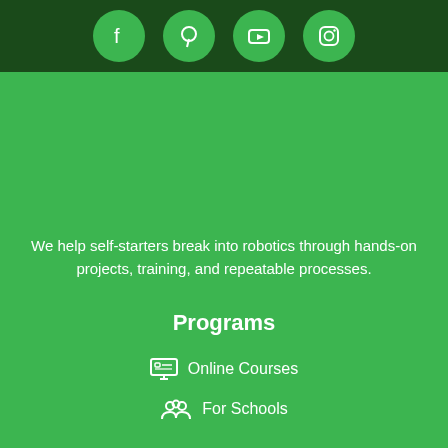[Figure (other): Dark green header bar with four social media icons (Facebook, Pinterest, YouTube, Instagram) as white icons inside green circles]
We help self-starters break into robotics through hands-on projects, training, and repeatable processes.
Programs
Online Courses
For Schools